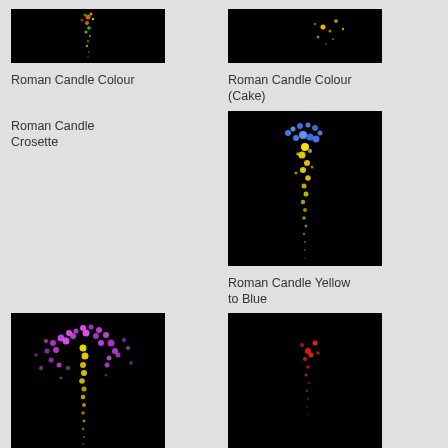[Figure (photo): Fireworks image on black background showing Roman Candle Colour - small colored sparks in vertical stream]
Roman Candle Colour
[Figure (photo): Fireworks image on black background showing Roman Candle Colour (Cake) - small scattered sparks]
Roman Candle Colour (Cake)
Roman Candle Crosette
[Figure (photo): Fireworks image on black background showing Roman Candle Yellow to Blue - large burst with blue top and yellow trail]
Roman Candle Yellow to Blue
[Figure (photo): Fireworks image on black background showing Roman Candle Yellow with Crosette - large purple and yellow burst]
Roman Candle Yellow with Crosette
[Figure (photo): Fireworks image on black background showing rote blinker - small red blinking sparks]
rote blinker